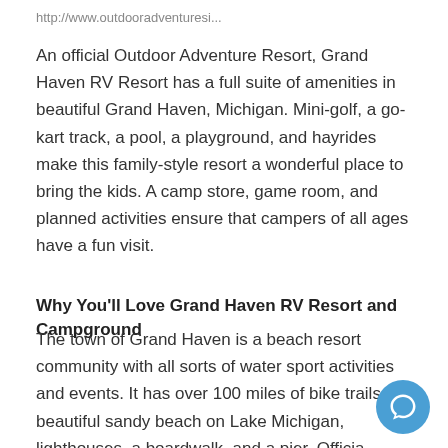http://www.outdooradventuresi...
An official Outdoor Adventure Resort, Grand Haven RV Resort has a full suite of amenities in beautiful Grand Haven, Michigan. Mini-golf, a go-kart track, a pool, a playground, and hayrides make this family-style resort a wonderful place to bring the kids. A camp store, game room, and planned activities ensure that campers of all ages have a fun visit.
Why You'll Love Grand Haven RV Resort and Campground
The town of Grand Haven is a beach resort community with all sorts of water sport activities and events. It has over 100 miles of bike trails, a beautiful sandy beach on Lake Michigan, lighthouses, a boardwalk, and a pier. Officia desigted as “Coast Guard City,” it hosts an annual Coas…